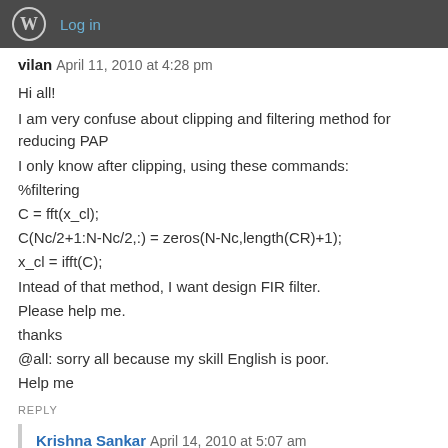Log in
vilan   April 11, 2010 at 4:28 pm
Hi all!
I am very confuse about clipping and filtering method for reducing PAP
I only know after clipping, using these commands:
%filtering
C = fft(x_cl);
C(Nc/2+1:N-Nc/2,:) = zeros(N-Nc,length(CR)+1);
x_cl = ifft(C);
Intead of that method, I want design FIR filter.
Please help me.
thanks
@all: sorry all because my skill English is poor.
Help me
REPLY
Krishna Sankar   April 14, 2010 at 5:07 am
@vilan: Both clipping and filtering happens in the time domain sam clipping pass it through a FIR filter. You can use conv() function in